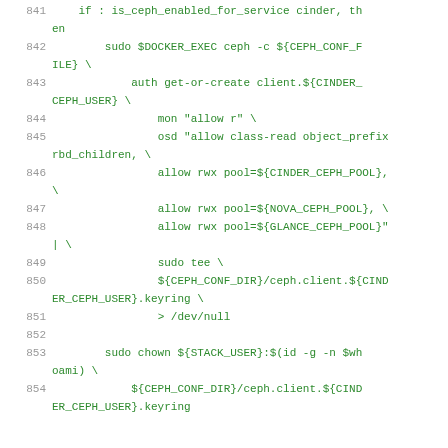[Figure (screenshot): Code block showing shell script lines 841-854 with line numbers in gray and code in green monospace font. The code involves Ceph storage configuration commands including auth get-or-create, allow rwx pool settings, sudo tee, sudo chown, and keyring file paths.]